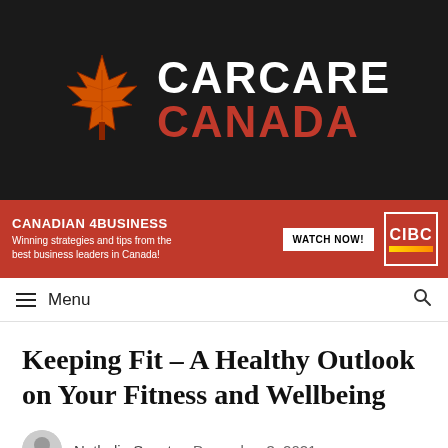[Figure (logo): Car Care Canada logo with orange maple leaf and text CARCARE CANADA on dark background]
[Figure (photo): Canadian Business advertisement banner: red background with CANADIAN BUSINESS text, 'Winning strategies and tips from the best business leaders in Canada!', WATCH NOW button, CIBC logo]
Menu
Keeping Fit – A Healthy Outlook on Your Fitness and Wellbeing
Nathalia Swartz   December 3, 2021